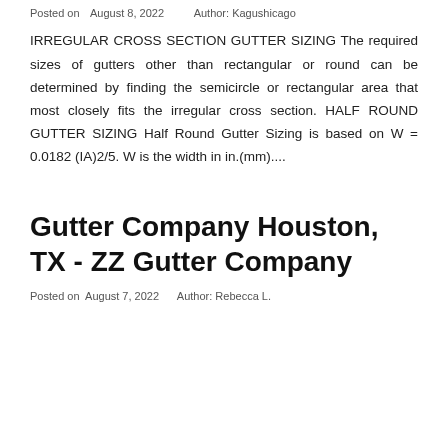Posted on  August 8, 2022    Author: Kagushicago
IRREGULAR CROSS SECTION GUTTER SIZING The required sizes of gutters other than rectangular or round can be determined by finding the semicircle or rectangular area that most closely fits the irregular cross section. HALF ROUND GUTTER SIZING Half Round Gutter Sizing is based on W = 0.0182 (IA)2/5. W is the width in in.(mm)....
Gutter Company Houston, TX - ZZ Gutter Company
Posted on  August 7, 2022    Author: Rebecca L.